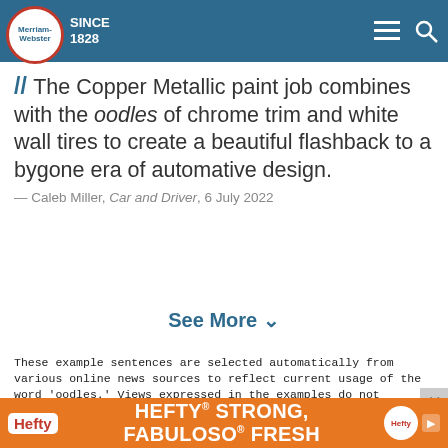Merriam-Webster SINCE 1828
// The Copper Metallic paint job combines with the oodles of chrome trim and white wall tires to create a beautiful flashback to a bygone era of automative design.
— Caleb Miller, Car and Driver, 6 July 2022
See More ∨
These example sentences are selected automatically from various online news sources to reflect current usage of the word 'oodles.' Views expressed in the examples do not represent the opinion of Merriam-Webster or its editors. Send us feedback.
[Figure (other): Hefty advertisement banner: HEFTY STRONG, FABULOSO FRESH with orange background and brand logos]